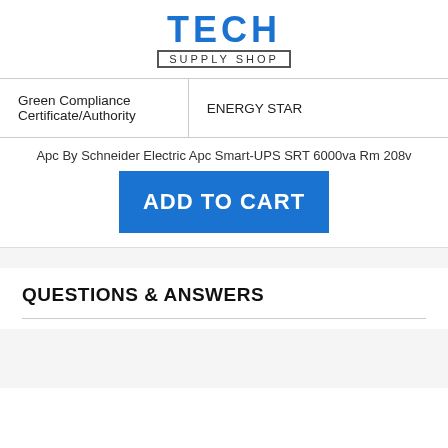[Figure (logo): Tech Supply Shop logo with TECH in large blue letters and SUPPLY SHOP in a bordered box below]
| Green Compliance Certificate/Authority | ENERGY STAR |
Apc By Schneider Electric Apc Smart-UPS SRT 6000va Rm 208v
ADD TO CART
QUESTIONS & ANSWERS